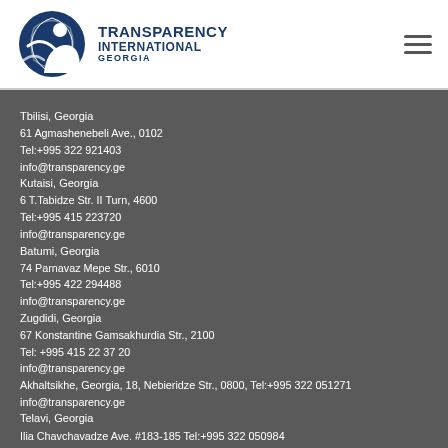[Figure (logo): Transparency International Georgia logo with globe icon on the left and text on the right]
Tbilisi, Georgia
61 Agmashenebeli Ave., 0102
Tel:+995 322 921403
info@transparency.ge
Kutaisi, Georgia
6 T.Tabidze Str. II Turn, 4600
Tel:+995 415 223720
info@transparency.ge
Batumi, Georgia
74 Parnavaz Mepe Str., 6010
Tel:+995 422 294488
info@transparency.ge
Zugdidi, Georgia
67 Konstantine Gamsakhurdia Str., 2100
Tel: +995 415 22 37 20
info@transparency.ge
Akhaltsikhe, Georgia, 18, Nebieridze Str., 0800, Tel:+995 322 051271
info@transparency.ge
Telavi, Georgia
Ilia Chavchavadze Ave. #183-185 Tel:+995 322 050984